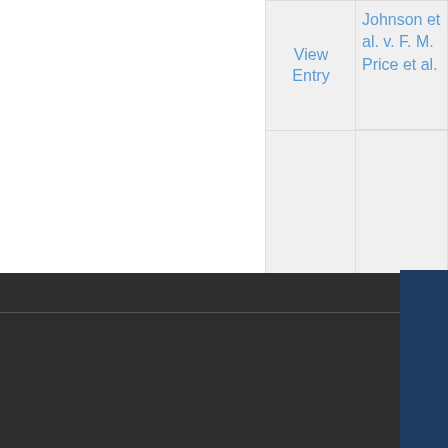|  | Case Name | Court/Jurisdiction |
| --- | --- | --- |
| View Entry | Johnson et al. v. F. M. Price et al. | Jackson... |
| View Entry | Warham Easley Jr. v. Jacob Melling |  |
[Figure (screenshot): Click Here to Chat with a Librarian button on the right side of the page, dark navy blue background, white rotated text]